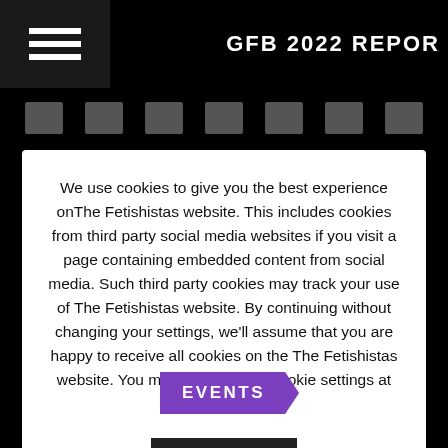GFB 2022 REPOR
[Figure (other): Navigation hamburger menu icon (three horizontal white lines) in dark box, and film strip thumbnails row on black background]
We use cookies to give you the best experience onThe Fetishistas website. This includes cookies from third party social media websites if you visit a page containing embedded content from social media. Such third party cookies may track your use of The Fetishistas website. By continuing without changing your settings, we'll assume that you are happy to receive all cookies on the The Fetishistas website. You may change your cookie settings at any time.
Accept
EVENTS
GFB 2022 REPORT PART 2